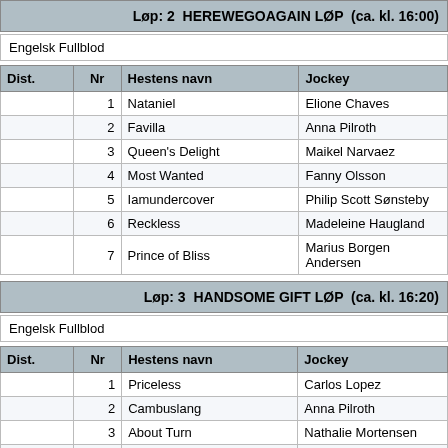Løp: 2  HEREWEGOAGAIN LØP  (ca. kl. 16:00)
Engelsk Fullblod
| Dist. | Nr | Hestens navn | Jockey |
| --- | --- | --- | --- |
|  | 1 | Nataniel | Elione Chaves |
|  | 2 | Favilla | Anna Pilroth |
|  | 3 | Queen's Delight | Maikel Narvaez |
|  | 4 | Most Wanted | Fanny Olsson |
|  | 5 | Iamundercover | Philip Scott Sønsteby |
|  | 6 | Reckless | Madeleine Haugland |
|  | 7 | Prince of Bliss | Marius Borgen Andersen |
Løp: 3  HANDSOME GIFT LØP  (ca. kl. 16:20)
Engelsk Fullblod
| Dist. | Nr | Hestens navn | Jockey |
| --- | --- | --- | --- |
|  | 1 | Priceless | Carlos Lopez |
|  | 2 | Cambuslang | Anna Pilroth |
|  | 3 | About Turn | Nathalie Mortensen |
|  | 4 | Laudate Dominum | Oliver Wilson |
|  | 5 | Night of St George | Elione Chaves |
|  | 6 | Miltonia | Madeleine Haugland |
|  | 7 | ... | ... |